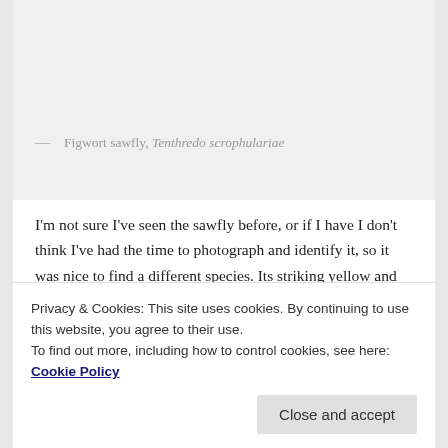[Figure (photo): Photo of a Figwort sawfly on a flower, partially visible at top of page (gray placeholder area)]
— Figwort sawfly, Tenthredo scrophulariae
I'm not sure I've seen the sawfly before, or if I have I don't think I've had the time to photograph and identify it, so it was nice to find a different species. Its striking yellow and black bands mimic a wasp and whilst the adults will sometimes nectar on flowers as this one was doing, they
Privacy & Cookies: This site uses cookies. By continuing to use this website, you agree to their use.
To find out more, including how to control cookies, see here: Cookie Policy
Close and accept